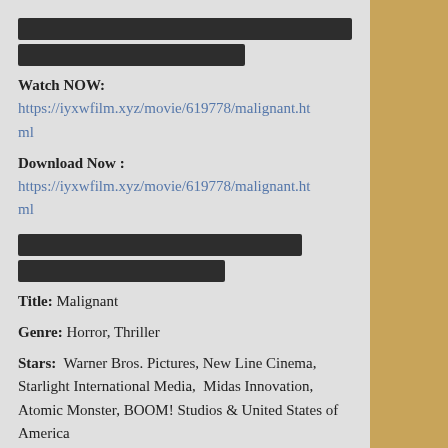[Figure (other): Two redacted (blacked-out) text bars at the top of the page]
Watch NOW:
https://iyxwfilm.xyz/movie/619778/malignant.html
Download Now :
https://iyxwfilm.xyz/movie/619778/malignant.html
[Figure (other): Two redacted (blacked-out) text bars in the middle of the page]
Title: Malignant
Genre: Horror, Thriller
Stars:  Warner Bros. Pictures, New Line Cinema, Starlight International Media,  Midas Innovation, Atomic Monster, BOOM! Studios & United States of  America